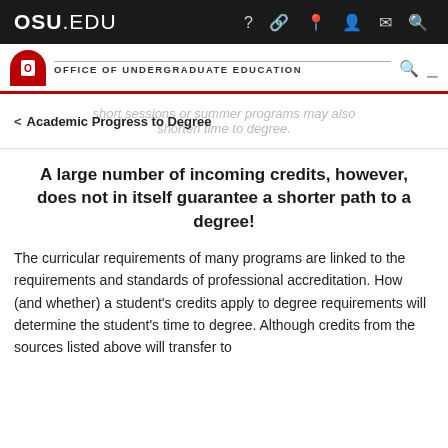OSU.EDU
[Figure (logo): Ohio State University Office of Undergraduate Education header with logo and navigation]
short sessions or summer programs may also shorten time to degree.
< Academic Progress to Degree
A large number of incoming credits, however, does not in itself guarantee a shorter path to a degree!
The curricular requirements of many programs are linked to the requirements and standards of professional accreditation. How (and whether) a student's credits apply to degree requirements will determine the student's time to degree. Although credits from the sources listed above will transfer to